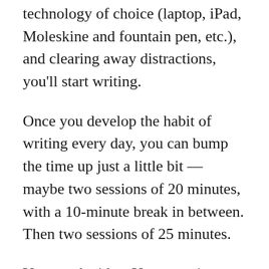technology of choice (laptop, iPad, Moleskine and fountain pen, etc.), and clearing away distractions, you'll start writing.
Once you develop the habit of writing every day, you can bump the time up just a little bit — maybe two sessions of 20 minutes, with a 10-minute break in between. Then two sessions of 25 minutes.
You get the idea. Use your timer. Nudge yourself forward.
If the habit starts to slip, go back to what you